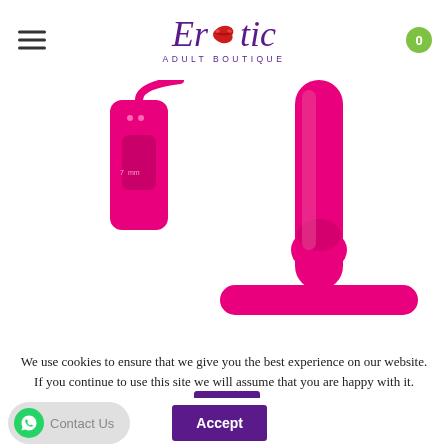[Figure (logo): Erotic Adult Boutique logo with purple italic script text and red lips icon replacing the 'o' in Erotic]
[Figure (photo): Pink silicone adult toy with remote control against white background]
We use cookies to ensure that we give you the best experience on our website. If you continue to use this site we will assume that you are happy with it.
[Figure (other): WhatsApp Contact Us button and Accept / Yes I'm Happy cookie consent buttons]